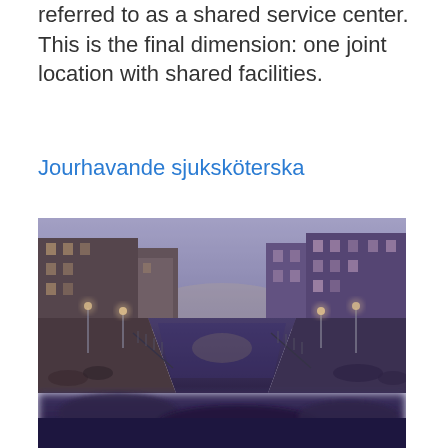referred to as a shared service center. This is the final dimension: one joint location with shared facilities.
Jourhavande sjuksköterska
[Figure (photo): A canal scene at dusk with tall buildings on either side, street lights glowing, and a perspective view down the waterway. The image has a purple/blue toned HDR filter applied. Appears to be the Navigli district in Milan, Italy.]